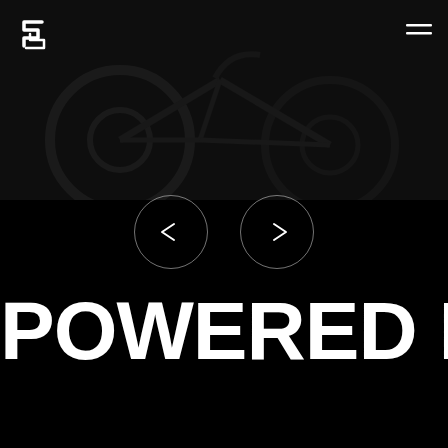[Figure (photo): Dark hero image of bicycles/cycling equipment with a logo (stylized S/M mark) in the top-left and a hamburger menu icon in the top-right. Two circular carousel navigation buttons (left arrow and right arrow) appear below the image.]
POWERED BY